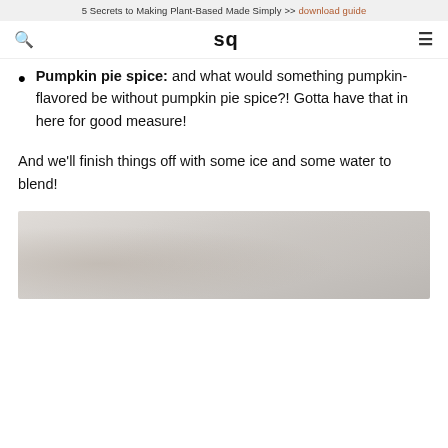5 Secrets to Making Plant-Based Made Simply >> download guide
Pumpkin pie spice: and what would something pumpkin-flavored be without pumpkin pie spice?! Gotta have that in here for good measure!
And we'll finish things off with some ice and some water to blend!
[Figure (photo): Light grey marble or stone surface texture photo strip]